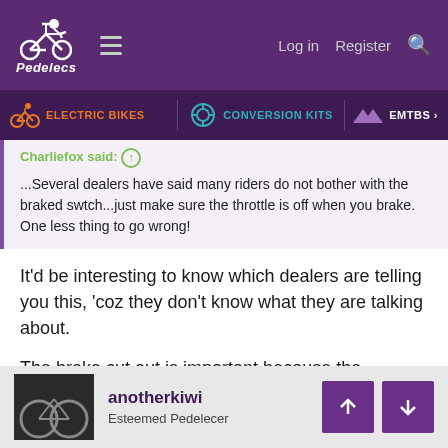Pedelecs — Log in  Register
ELECTRIC BIKES  CONVERSION KITS  EMTBS
Charliefox said: ↑
...Several dealers have said many riders do not bother with the braked swtch...just make sure the throttle is off when you brake. One less thing to go wrong!
It'd be interesting to know which dealers are telling you this, 'coz they don't know what they are talking about.

The brake cut out is important because the throttles often fail wide open.
anotherkiwi
Esteemed Pedelecer